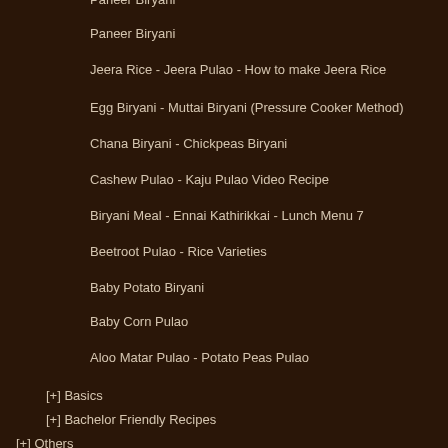Paneer Biryani
Jeera Rice - Jeera Pulao - How to make Jeera Rice
Egg Biryani - Muttai Biryani (Pressure Cooker Method)
Chana Biryani - Chickpeas Biryani
Cashew Pulao - Kaju Pulao Video Recipe
Biryani Meal - Ennai Kathirikkai - Lunch Menu 7
Beetroot Pulao - Rice Varieties
Baby Potato Biryani
Baby Corn Pulao
Aloo Matar Pulao - Potato Peas Pulao
[+] Basics
[+] Bachelor Friendly Recipes
[+] Others